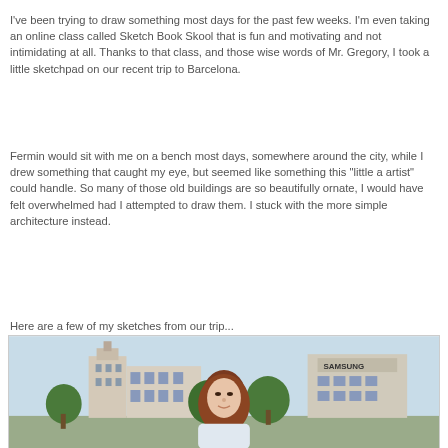I've been trying to draw something most days for the past few weeks.  I'm even taking an online class called Sketch Book Skool that is fun and motivating and not intimidating at all. Thanks to that class, and those wise words of Mr. Gregory, I took a little sketchpad on our recent trip to Barcelona.
Fermin would sit with me on a bench most days, somewhere around the city, while I drew something that caught my eye, but seemed like something this "little a artist" could handle. So many of those old buildings are so beautifully ornate, I would have felt overwhelmed had I attempted to draw them. I stuck with the more simple architecture instead.
Here are a few of my sketches from our trip...
[Figure (photo): Photo of a woman with reddish-brown hair in front of Barcelona city buildings and trees, taken outdoors on a sunny day.]